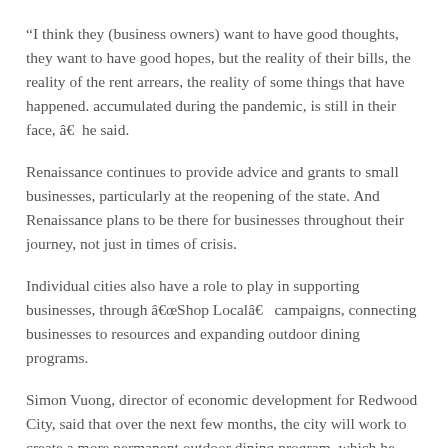“I think they (business owners) want to have good thoughts, they want to have good hopes, but the reality of their bills, the reality of the rent arrears, the reality of some things that have happened. accumulated during the pandemic, is still in their face, â€¦ he said.
Renaissance continues to provide advice and grants to small businesses, particularly at the reopening of the state. And Renaissance plans to be there for businesses throughout their journey, not just in times of crisis.
Individual cities also have a role to play in supporting businesses, through â€œShop Localâ€ campaigns, connecting businesses to resources and expanding outdoor dining programs.
Simon Vuong, director of economic development for Redwood City, said that over the next few months, the city will work to create a more permanent outdoor dining program, which he says